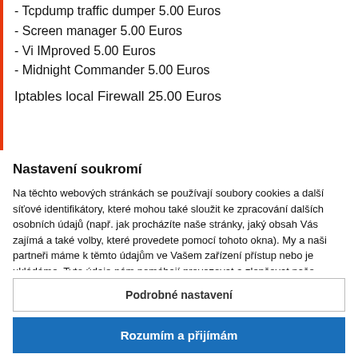- Tcpdump traffic dumper 5.00 Euros
- Screen manager 5.00 Euros
- Vi IMproved 5.00 Euros
- Midnight Commander 5.00 Euros
Iptables local Firewall 25.00 Euros
Nastavení soukromí
Na těchto webových stránkách se používají soubory cookies a další síťové identifikátory, které mohou také sloužit ke zpracování dalších osobních údajů (např. jak procházíte naše stránky, jaký obsah Vás zajímá a také volby, které provedete pomocí tohoto okna). My a naši partneři máme k těmto údajům ve Vašem zařízení přístup nebo je ukládáme. Tyto údaje nám pomáhají provozovat a zlepšovat naše služby. Můžeme Vám také
Podrobné nastavení
Rozumím a přijímám